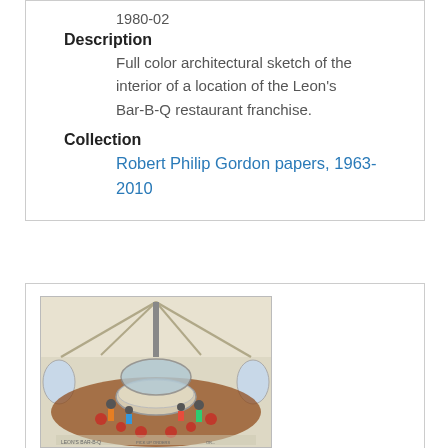1980-02
Description
Full color architectural sketch of the interior of a location of the Leon's Bar-B-Q restaurant franchise.
Collection
Robert Philip Gordon papers, 1963-2010
[Figure (illustration): Full color architectural sketch of the interior of a Leon's Bar-B-Q restaurant location, showing a round central counter/bar area with customers seated around it, high ceiling with structural beams, and arched windows.]
Title
Leon's Bar-B-Q: Pick Up Orders or